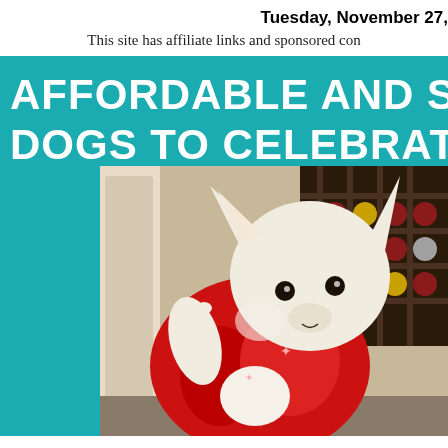Tuesday, November 27,
This site has affiliate links and sponsored con
AFFORDABLE AND SA DOGS TO CELEBRATE
[Figure (photo): A small white Chihuahua dog wearing a red velvet Christmas outfit, photographed indoors near a wine rack. The dog is looking slightly downward toward the camera.]